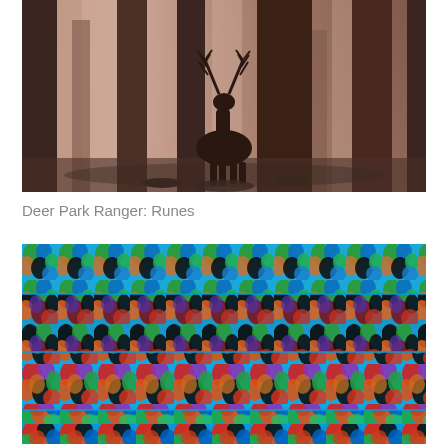[Figure (illustration): Illustration of a deer silhouette standing in a misty forest with tall dark tree trunks and pinkish-brown foggy atmosphere]
Deer Park Ranger: Runes
[Figure (illustration): Colorful abstract repeating pattern image with overlapping oval/leaf shapes in vivid colors (blue, red, green, orange, black, teal) arranged in horizontal bands]